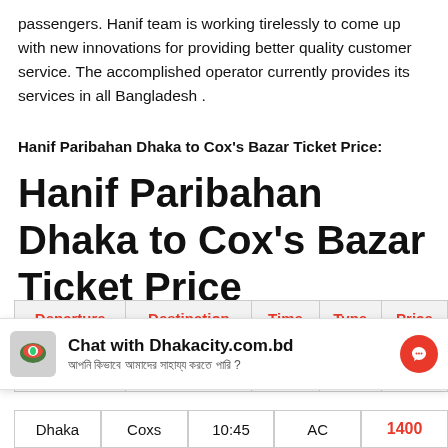passengers. Hanif team is working tirelessly to come up with new innovations for providing better quality customer service. The accomplished operator currently provides its services in all Bangladesh .
Hanif Paribahan Dhaka to Cox's Bazar Ticket Price:
Hanif Paribahan Dhaka to Cox's Bazar Ticket Price
| Departure | Destination | Time | Type | Price |
| --- | --- | --- | --- | --- |
| Dhaka | Coxs bazar | 09:30 PM | AC | 1800 BDT |
| Dhaka | Coxs | 10:45 | AC | 1400 |